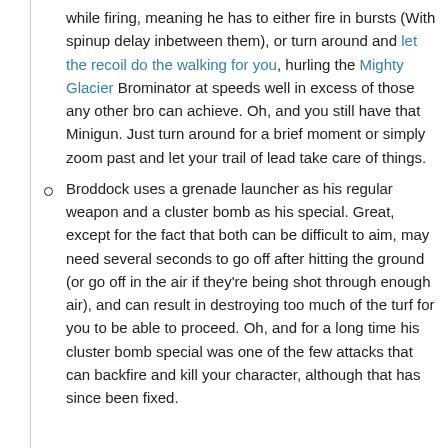while firing, meaning he has to either fire in bursts (With spinup delay inbetween them), or turn around and let the recoil do the walking for you, hurling the Mighty Glacier Brominator at speeds well in excess of those any other bro can achieve. Oh, and you still have that Minigun. Just turn around for a brief moment or simply zoom past and let your trail of lead take care of things.
Broddock uses a grenade launcher as his regular weapon and a cluster bomb as his special. Great, except for the fact that both can be difficult to aim, may need several seconds to go off after hitting the ground (or go off in the air if they're being shot through enough air), and can result in destroying too much of the turf for you to be able to proceed. Oh, and for a long time his cluster bomb special was one of the few attacks that can backfire and kill your character, although that has since been fixed.